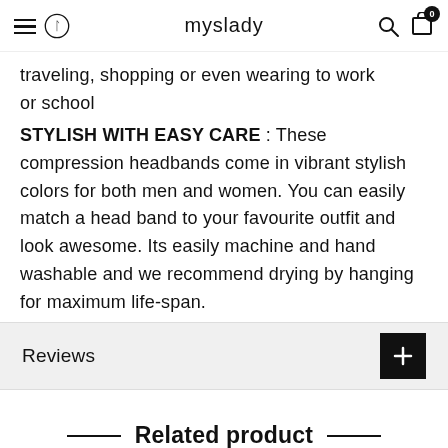myslady
traveling, shopping or even wearing to work or school
STYLISH WITH EASY CARE : These compression headbands come in vibrant stylish colors for both men and women. You can easily match a head band to your favourite outfit and look awesome. Its easily machine and hand washable and we recommend drying by hanging for maximum life-span.
Reviews
Related product
Top seller in the week